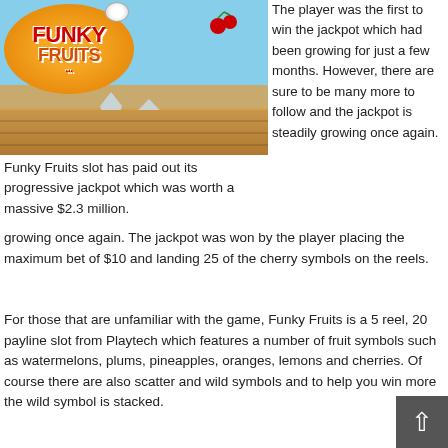[Figure (photo): Screenshot of Funky Fruits slot game showing beach/ocean background with the colorful Funky Fruits logo on an orange background, water splashes, cherries, and a wooden deck in the foreground.]
The player was the first to win the jackpot which had been growing for just a few months. However, there are sure to be many more to follow and the jackpot is steadily growing once again.
Funky Fruits slot has paid out its progressive jackpot which was worth a massive $2.3 million.
growing once again. The jackpot was won by the player placing the maximum bet of $10 and landing 25 of the cherry symbols on the reels.
For those that are unfamiliar with the game, Funky Fruits is a 5 reel, 20 payline slot from Playtech which features a number of fruit symbols such as watermelons, plums, pineapples, oranges, lemons and cherries. Of course there are also scatter and wild symbols and to help you win more the wild symbol is stacked.